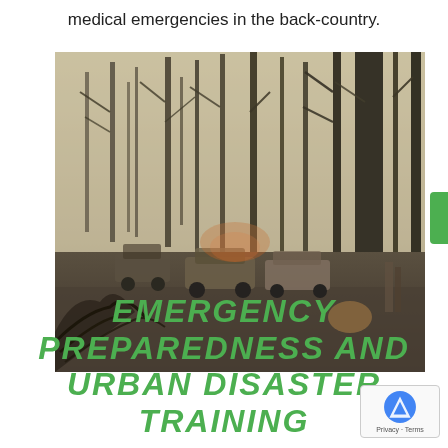medical emergencies in the back-country.
[Figure (photo): Aftermath of a wildfire: burned-out cars and charred tree trunks amid ash and debris in a smoky forest landscape.]
EMERGENCY PREPAREDNESS AND URBAN DISASTER TRAINING